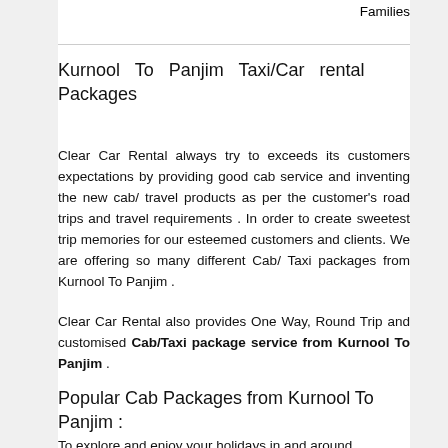Families
Kurnool To Panjim Taxi/Car rental Packages
Clear Car Rental always try to exceeds its customers expectations by providing good cab service and inventing the new cab/ travel products as per the customer's road trips and travel requirements . In order to create sweetest trip memories for our esteemed customers and clients. We are offering so many different Cab/ Taxi packages from Kurnool To Panjim .
Clear Car Rental also provides One Way, Round Trip and customised Cab/Taxi package service from Kurnool To Panjim .
Popular Cab Packages from Kurnool To Panjim :
To explore and enjoy your holidays in and around